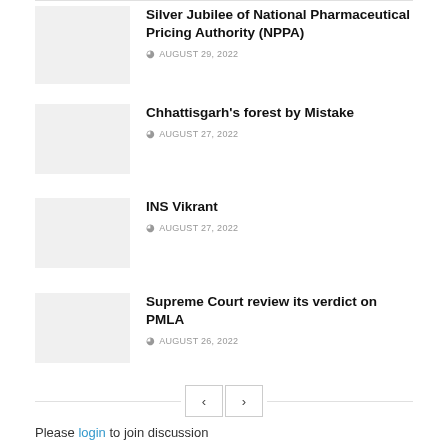Silver Jubilee of National Pharmaceutical Pricing Authority (NPPA) — AUGUST 29, 2022
Chhattisgarh's forest by Mistake — AUGUST 27, 2022
INS Vikrant — AUGUST 27, 2022
Supreme Court review its verdict on PMLA — AUGUST 26, 2022
Please login to join discussion